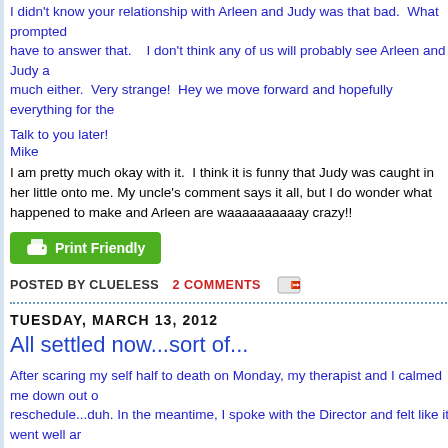I didn't know your relationship with Arleen and Judy was that bad. What prompted... have to answer that. I don't think any of us will probably see Arleen and Judy a... much either. Very strange! Hey we move forward and hopefully everything for the...
Talk to you later!
Mike
I am pretty much okay with it. I think it is funny that Judy was caught in her little... onto me. My uncle's comment says it all, but I do wonder what happened to make... and Arleen are waaaaaaaaaay crazy!!
[Figure (other): Green Print Friendly button with printer icon]
POSTED BY CLUELESS   2 COMMENTS
TUESDAY, MARCH 13, 2012
All settled now...sort of...
After scaring my self half to death on Monday, my therapist and I calmed me down out o... reschedule...duh. In the meantime, I spoke with the Director and felt like it went well ar... when it works best for me. The unfortunate thing is that the schedule for the classes are... have to take the dreaded GRE. I never do well on standardized tests. Most indicate that I m...
On another front, I am having an extremely difficult time with my husbands layoff. He a... company, but it has rotating shifts and weekend work. I am having much difficulty admittin... time with him. I'm not supposed to need anyone because then I don't run the risk of b... everything down and it creates more problems. My therapist is helping me to work this ou... arguement last night. I'm having a really difficult time.